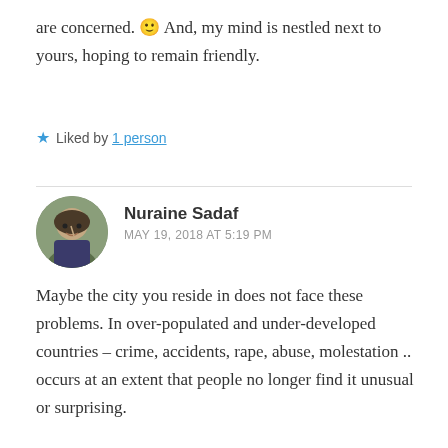are concerned. 🙂 And, my mind is nestled next to yours, hoping to remain friendly.
★ Liked by 1 person
Nuraine Sadaf
MAY 19, 2018 AT 5:19 PM
Maybe the city you reside in does not face these problems. In over-populated and under-developed countries – crime, accidents, rape, abuse, molestation .. occurs at an extent that people no longer find it unusual or surprising.